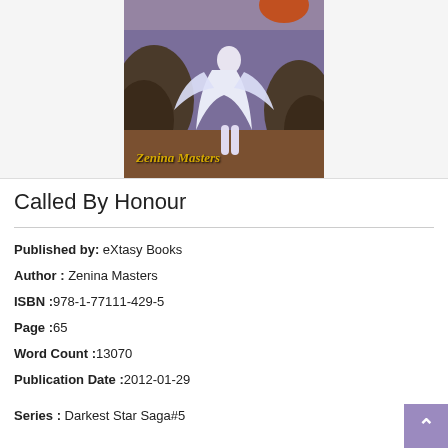[Figure (illustration): Book cover image showing a figure in white flowing garment against rocky background with text 'Zenina Masters' in gold italic lettering at the bottom.]
Called By Honour
Published by: eXtasy Books
Author : Zenina Masters
ISBN :978-1-77111-429-5
Page :65
Word Count :13070
Publication Date :2012-01-29
Series : Darkest Star Saga#5